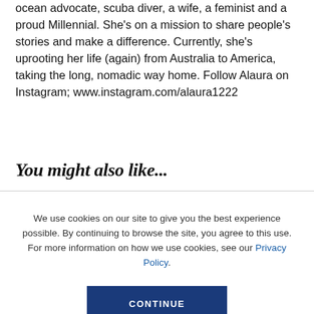ocean advocate, scuba diver, a wife, a feminist and a proud Millennial. She's on a mission to share people's stories and make a difference. Currently, she's uprooting her life (again) from Australia to America, taking the long, nomadic way home. Follow Alaura on Instagram; www.instagram.com/alaura1222
You might also like...
We use cookies on our site to give you the best experience possible. By continuing to browse the site, you agree to this use. For more information on how we use cookies, see our Privacy Policy.